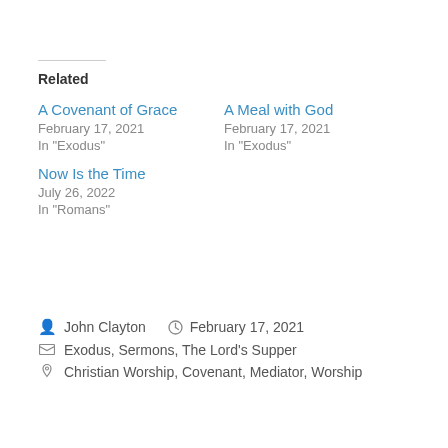Related
A Covenant of Grace
February 17, 2021
In "Exodus"
A Meal with God
February 17, 2021
In "Exodus"
Now Is the Time
July 26, 2022
In "Romans"
John Clayton   February 17, 2021
Exodus, Sermons, The Lord's Supper
Christian Worship, Covenant, Mediator, Worship